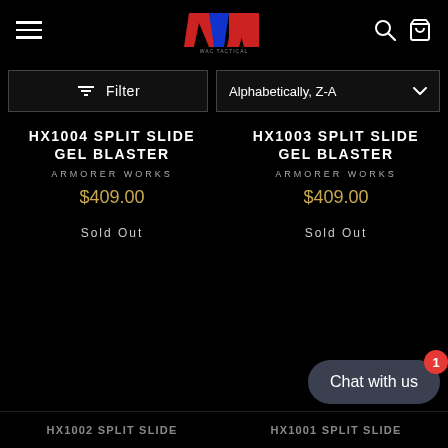WAC - navigation header with hamburger menu, logo, search and cart icons
Filter | Alphabetically, Z-A
HX1004 SPLIT SLIDE GEL BLASTER
ARMORER WORKS
$409.00
Sold Out
HX1003 SPLIT SLIDE GEL BLASTER
ARMORER WORKS
$409.00
Sold Out
Chat with us